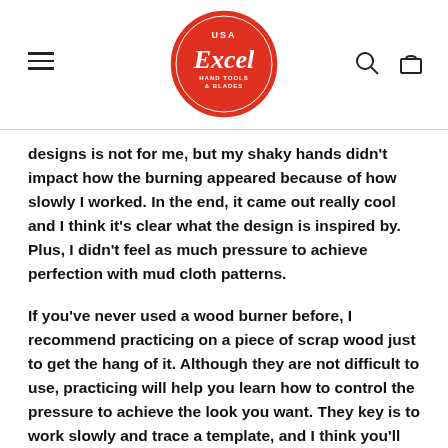USA Excel Hand Tools & Blades
designs is not for me, but my shaky hands didn't impact how the burning appeared because of how slowly I worked. In the end, it came out really cool and I think it's clear what the design is inspired by. Plus, I didn't feel as much pressure to achieve perfection with mud cloth patterns.
If you've never used a wood burner before, I recommend practicing on a piece of scrap wood just to get the hang of it. Although they are not difficult to use, practicing will help you learn how to control the pressure to achieve the look you want. They key is to work slowly and trace a template, and I think you'll